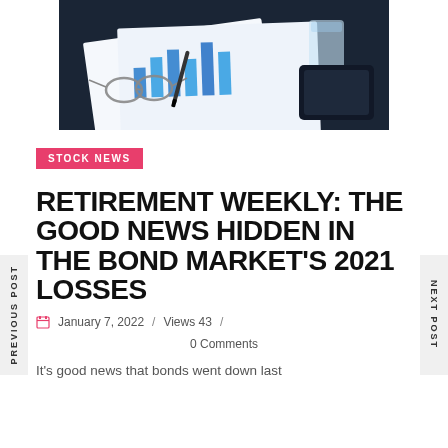[Figure (photo): Overhead view of financial charts and graphs on paper with glasses, pen, and a glass of water on a dark desk surface]
STOCK NEWS
RETIREMENT WEEKLY: THE GOOD NEWS HIDDEN IN THE BOND MARKET'S 2021 LOSSES
January 7, 2022 / Views 43 / 0 Comments
It's good news that bonds went down last